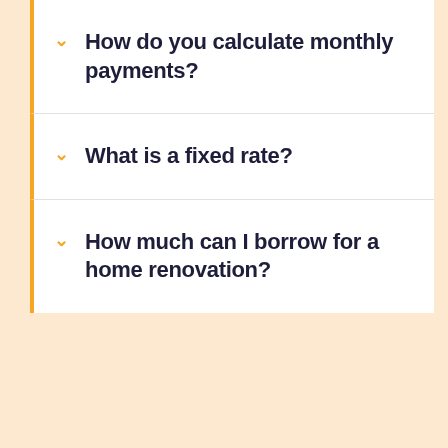How do you calculate monthly payments?
What is a fixed rate?
How much can I borrow for a home renovation?